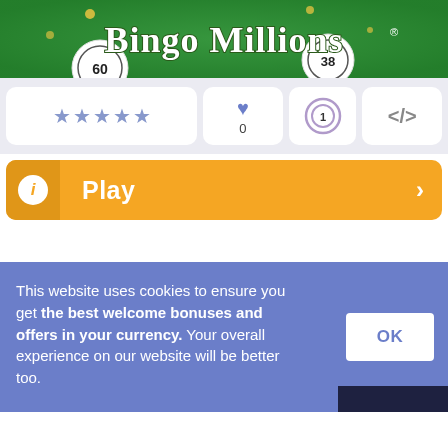[Figure (screenshot): Bingo Millions game banner with green background, showing bingo balls numbered 60 and 38, with 'Bingo Millions' text in decorative white font]
[Figure (screenshot): Game widget row with star rating (5 stars in blue), heart/favorite icon with count 0, a purple bingo ball icon, and a code/embed icon]
[Figure (screenshot): Orange Play button bar with info circle on left and right arrow, text reads Play]
This website uses cookies to ensure you get the best welcome bonuses and offers in your currency. Your overall experience on our website will be better too.
[Figure (screenshot): OK button on cookie consent banner]